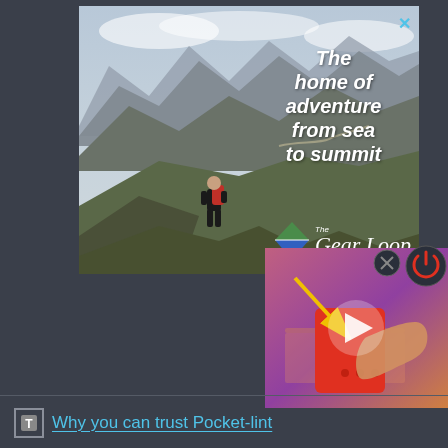[Figure (screenshot): Advertisement banner for The Gear Loop showing a mountain landscape with a hiker carrying a backpack. Text overlay reads 'The home of adventure from sea to summit' with The Gear Loop diamond logo. A close X button is visible in the top right corner.]
[Figure (screenshot): Video thumbnail showing a hand holding a red device with a play button arrow overlay and a yellow arrow pointing to it. A power icon in red is visible to the right.]
Why you can trust Pocket-lint